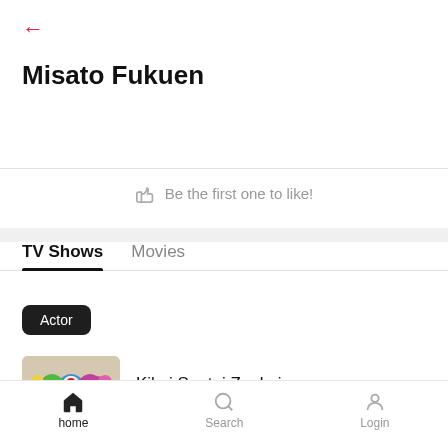[Figure (screenshot): Back arrow navigation button, pink/red color]
Misato Fukuen
Be the first one to like!
TV Shows  Movies
Actor
[Figure (photo): Kikai Sentai Zenkaiger colorful superhero team poster thumbnail]
Kikai Sentai Zenkaiger
2021  Voice
home  Search  Login